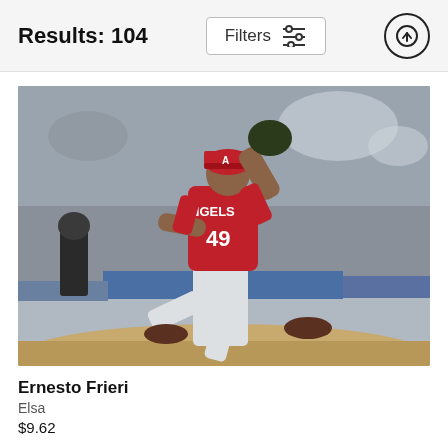Results: 104
[Figure (photo): Baseball pitcher Ernesto Frieri wearing Los Angeles Angels red uniform number 49 and red cap, in pitching motion on the mound, with stadium crowd in background. Black and white uniformed umpire visible in left background.]
Ernesto Frieri
Elsa
$9.62